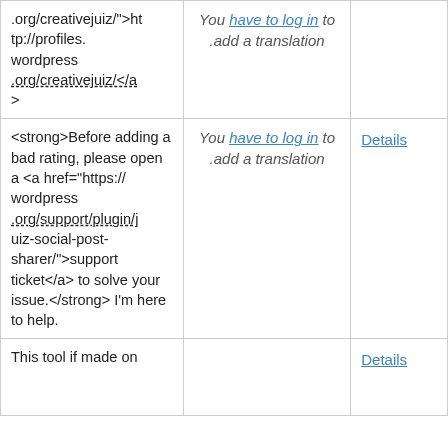| Original | Translation | Action |
| --- | --- | --- |
| .org/creativejuiz/">http://profiles.wordpress.org/creativejuiz/</a> | You have to log in to .add a translation |  |
| <strong>Before adding a bad rating, please open a <a href="https://wordpress.org/support/plugin/juiz-social-post-sharer/">support ticket</a> to solve your issue.</strong> I'm here to help. | You have to log in to .add a translation | Details |
| This tool if made on expectations from... |  | Details |